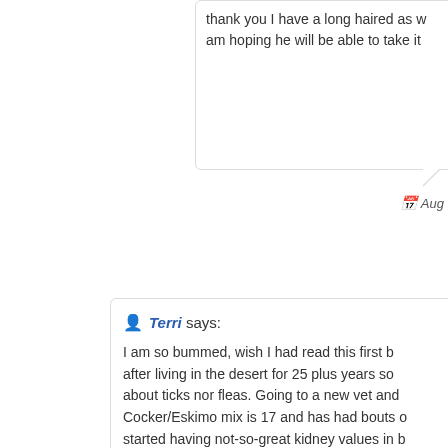thank you I have a long haired as w am hoping he will be able to take it
Aug
Terri says: I am so bummed, wish I had read this first b after living in the desert for 25 plus years so about ticks nor fleas. Going to a new vet and Cocker/Eskimo mix is 17 and has had bouts o started having not-so-great kidney values in b was safe. Today I gave her the second month staggering alot today and threw up a few hou at the ready to rush her to emergency but ri and get some rest. Was advised by emergen plenty of water. I am distraught....ready to m